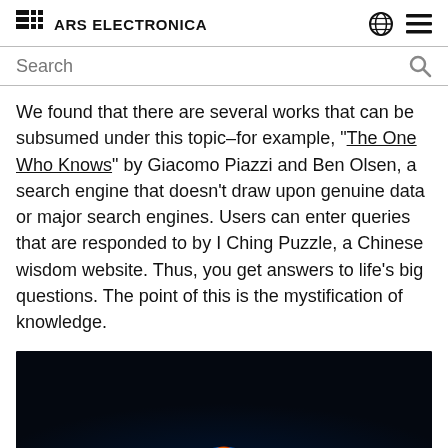ARS ELECTRONICA
Search
We found that there are several works that can be subsumed under this topic–for example, “The One Who Knows” by Giacomo Piazzi and Ben Olsen, a search engine that doesn’t draw upon genuine data or major search engines. Users can enter queries that are responded to by I Ching Puzzle, a Chinese wisdom website. Thus, you get answers to life’s big questions. The point of this is the mystification of knowledge.
[Figure (photo): Dark background with a glowing blue and orange orb/light object at the bottom center, resembling a small illuminated disc or craft against a dark background.]